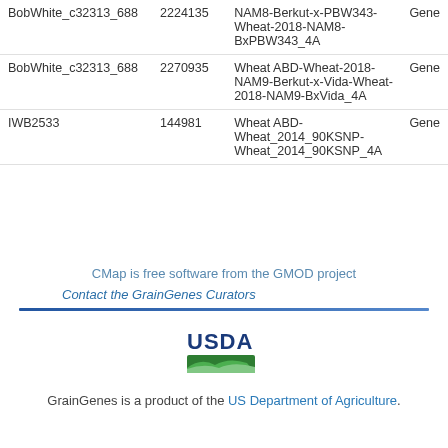| Name | Number | Map | Type |
| --- | --- | --- | --- |
| BobWhite_c32313_688 | 2224135 | NAM8-Berkut-x-PBW343-Wheat-2018-NAM8-BxPBW343_4A | Gene |
| BobWhite_c32313_688 | 2270935 | Wheat ABD-Wheat-2018-NAM9-Berkut-x-Vida-Wheat-2018-NAM9-BxVida_4A | Gene |
| IWB2533 | 144981 | Wheat ABD-Wheat_2014_90KSNP-Wheat_2014_90KSNP_4A | Gene |
CMap is free software from the GMOD project
Contact the GrainGenes Curators
GrainGenes is a product of the US Department of Agriculture.